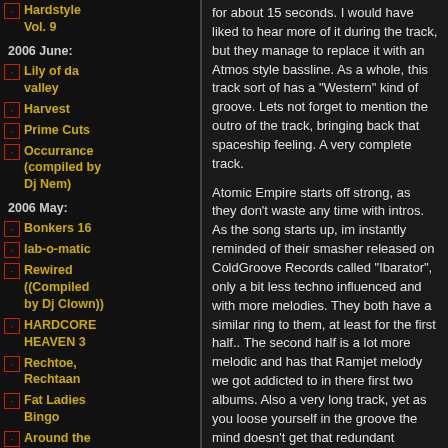Hardstyle Vol. 9
2006 June:
Lily of da valley
Harvest
Prime Cuts
Occurrance (compiled by Dj Nem)
2006 May:
Bonkers 16
lab-o-matic
Rewired ((Compiled by Dj Clown))
HARDCORE HEAVEN 3
Rechtoe, Rechtaan
Fat Ladies Bingo
Around the World in 80 Minutes
2006 April:
Propagande Américaine - La Dose - Mixtape
for about 15 seconds. I would have liked to hear more of it during the track, but they manage to replace it with an Atmos style bassline. As a whole, this track sort of has a "Western" kind of groove. Lets not forget to mention the outro of the track, bringing back that spaceship feeling. A very complete track.
Atomic Empire starts off strong, as they don't waste any time with intros. As the song starts up, im instantly reminded of their smasher released on ColdGroove Records called "Ibarator", only a bit less techno influenced and with more melodies. They both have a similar ring to them, at least for the first half.. The second half is a lot more melodic and has that Ramjet melody we got addicted to in there first two albums. Also a very long track, yet as you loose yourself in the groove the mind doesn't get that redundant feeling. It is a very nice blend of Proggy melodies with techy snares and hats.
Son of a Bush starts out with a little bit of relaxing guitar, nothing heavy, but a little dark. There's a very nice voice with a echo effect, making it hard to hear what he's saying. It reminds me of the good old Igneous Sauria days (first album of course). This one has a nice rolling bassline, complimented with soothing